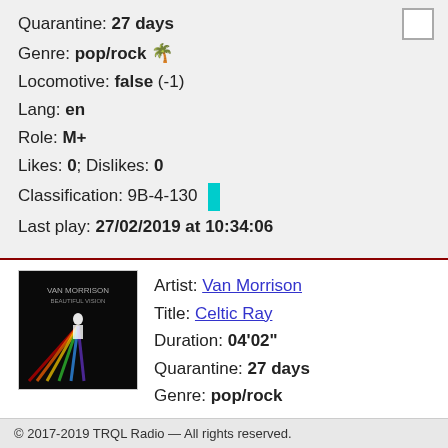Quarantine: 27 days
Genre: pop/rock 🌴
Locomotive: false (-1)
Lang: en
Role: M+
Likes: 0; Dislikes: 0
Classification: 9B-4-130
Last play: 27/02/2019 at 10:34:06
[Figure (photo): Album art for Van Morrison Celtic Ray - dark cover with rainbow light]
Artist: Van Morrison
Title: Celtic Ray
Duration: 04'02"
Quarantine: 27 days
Genre: pop/rock
© 2017-2019 TRQL Radio — All rights reserved.